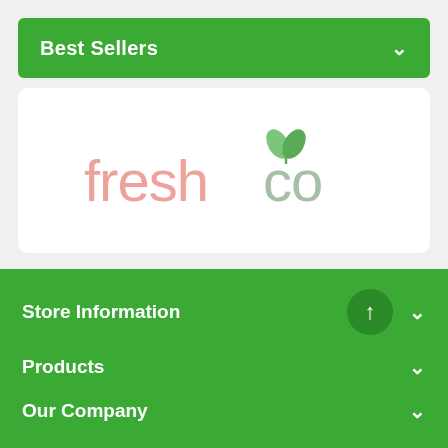Best Sellers
[Figure (logo): freshco grocery store logo — 'freshco' text in pink/salmon color with a green leaf/sprout icon above the letter 'o']
Store Information
Products
Our Company